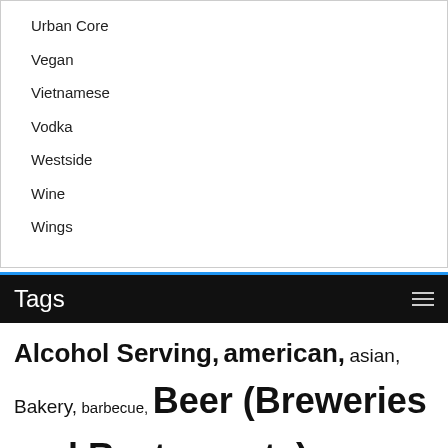Urban Core
Vegan
Vietnamese
Vodka
Westside
Wine
Wings
Tags
Alcohol Serving, american, asian, Bakery, barbecue, Beer (Breweries and Restaurants), Beer and Wine, breakfast, Breakfast/Brunch, burgers, Casual, Date Night,